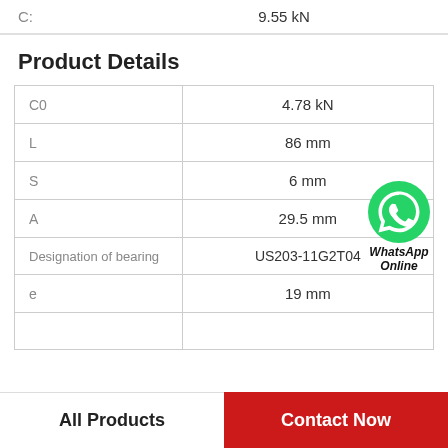C:    9.55 kN
Product Details
|  |  |
| --- | --- |
| C0 | 4.78 kN |
| L | 86 mm |
| S | 6 mm |
| A | 29.5 mm |
| Designation of bearing | US203-11G2T04 |
| e | 19 mm |
|  |  |
[Figure (logo): WhatsApp Online green phone icon with text 'WhatsApp Online' in bold italic]
All Products
Contact Now